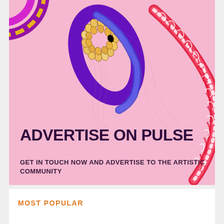[Figure (illustration): Pink background advertisement banner with colorful decorative bracelets/bangles — purple beaded bracelet, red/white lace-style bracelet — on a light pink background. Top-left corner shows partial circular element in purple and yellow.]
ADVERTISE ON PULSE
GET IN TOUCH NOW AND ADVERTISE TO THE ARTISTIC COMMUNITY
MOST POPULAR